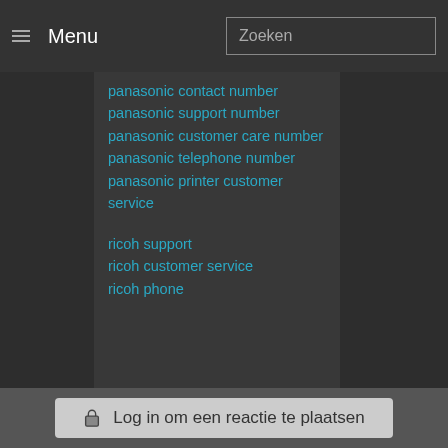Menu | Zoeken
panasonic contact number
panasonic support number
panasonic customer care number
panasonic telephone number
panasonic printer customer service
ricoh support
ricoh customer service
ricoh phone number
Log in om een reactie te plaatsen